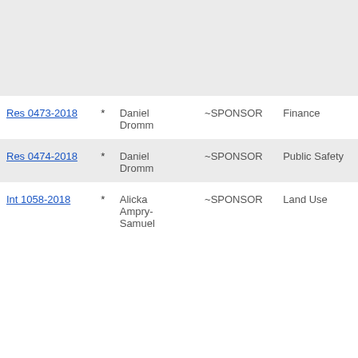| Bill |  | Sponsor | Role | Committee |
| --- | --- | --- | --- | --- |
| Res 0473-2018 | * | Daniel Dromm | ~SPONSOR | Finance |
| Res 0474-2018 | * | Daniel Dromm | ~SPONSOR | Public Safety |
| Int 1058-2018 | * | Alicka Ampry-Samuel | ~SPONSOR | Land Use |